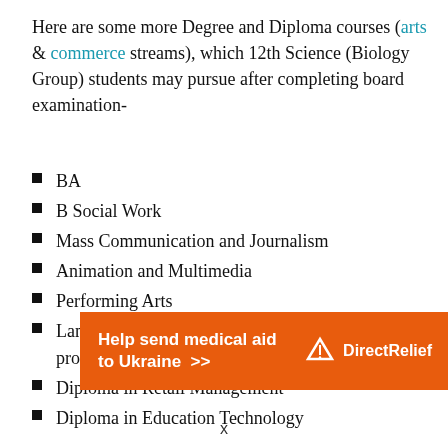Here are some more Degree and Diploma courses (arts & commerce streams), which 12th Science (Biology Group) students may pursue after completing board examination-
BA
B Social Work
Mass Communication and Journalism
Animation and Multimedia
Performing Arts
Language Courses (Foreign Languages are promising)
Diploma in Retail Management
Diploma in Education Technology
[Figure (infographic): Orange banner advertisement: 'Help send medical aid to Ukraine >>' with Direct Relief logo on right side]